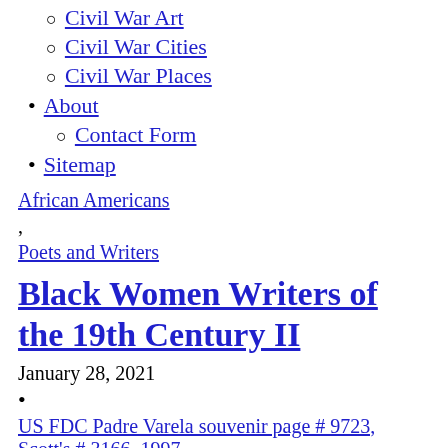Civil War Art
Civil War Cities
Civil War Places
About
Contact Form
Sitemap
African Americans
,
Poets and Writers
Black Women Writers of the 19th Century II
January 28, 2021
US FDC Padre Varela souvenir page # 9723, Scott's # 3166, 1997,
First part here: Black Women Writers of the 19th Century Black Women Writers Through Civil War and Reconstruction The nineteenth century was a formative period in African-American literary and cultural history. Law and practice forbade teaching blacks to read or write. Even after the American Civil War, many of the impediments to learning and literary productivity remained.